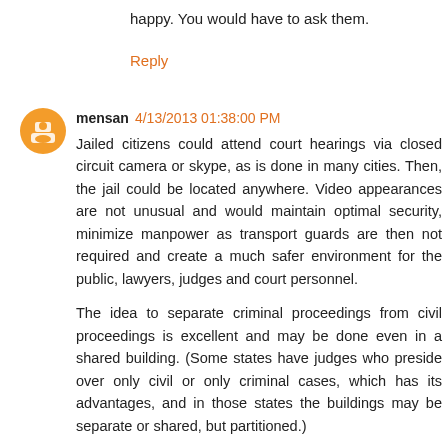happy. You would have to ask them.
Reply
mensan 4/13/2013 01:38:00 PM
Jailed citizens could attend court hearings via closed circuit camera or skype, as is done in many cities. Then, the jail could be located anywhere. Video appearances are not unusual and would maintain optimal security, minimize manpower as transport guards are then not required and create a much safer environment for the public, lawyers, judges and court personnel.
The idea to separate criminal proceedings from civil proceedings is excellent and may be done even in a shared building. (Some states have judges who preside over only civil or only criminal cases, which has its advantages, and in those states the buildings may be separate or shared, but partitioned.)
The current courthouse could be preserved and utilized for